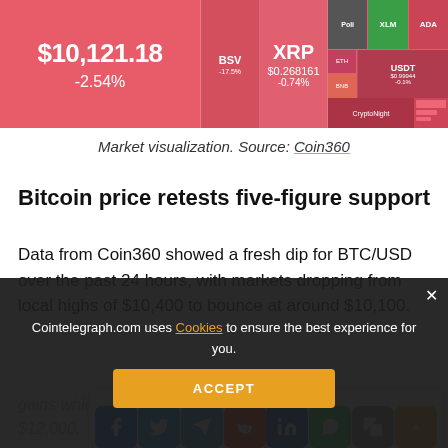[Figure (screenshot): Cryptocurrency market heatmap showing BTC at $10,121.18 (-2.54%), XRP at $0.268161 (-0.74%), BSV, XLM, ADA, USDT tiles in red/green]
Market visualization. Source: Coin360
Bitcoin price retests five-figure support
Data from Coin360 showed a fresh dip for BTC/USD over the past 24 hours, with markets dropping from local highs of $10,400 to bounce at around $10,100.
[Figure (screenshot): Social share buttons: Facebook, Twitter, Telegram, Reddit, LinkedIn, WhatsApp, Copy, scroll-up]
gains which briefly saw the largest cryptocurrency pass $12,000.
[Figure (screenshot): Cookie consent bar: Cointelegraph.com uses Cookies to ensure the best experience for you. ACCEPT button.]